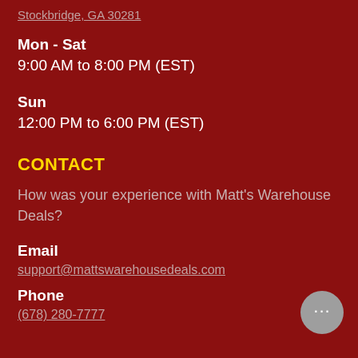Stockbridge, GA 30281
Mon - Sat
9:00 AM to 8:00 PM (EST)
Sun
12:00 PM to 6:00 PM (EST)
CONTACT
How was your experience with Matt's Warehouse Deals?
Email
support@mattswarehousedeals.com
Phone
(678) 280-7777